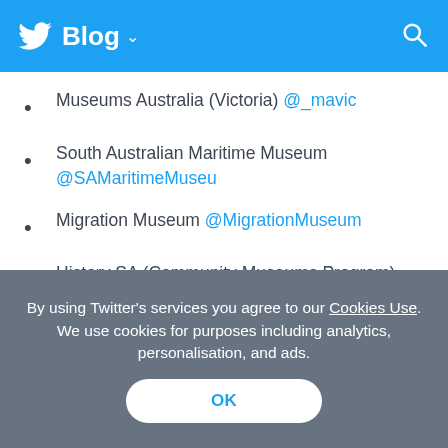Blog
Museums Australia (Victoria) @_mavic
South Australian Maritime Museum @SAMaritimeMuseu
Migration Museum @MigrationMuseum
History SA (Community Museums Program) @communityHistSA
By using Twitter's services you agree to our Cookies Use. We use cookies for purposes including analytics, personalisation, and ads.
OK